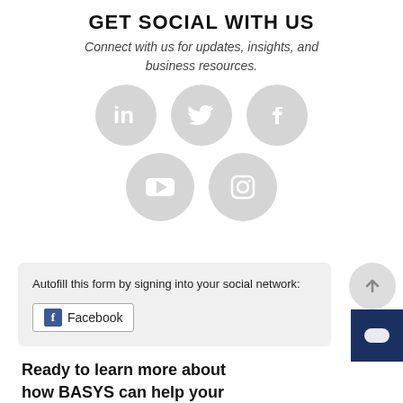GET SOCIAL WITH US
Connect with us for updates, insights, and business resources.
[Figure (illustration): Five social media icon circles (LinkedIn, Twitter, Facebook, YouTube, Instagram) in light gray with white icons, arranged in two rows: top row has three icons, bottom row has two icons centered.]
Autofill this form by signing into your social network:
Facebook
Ready to learn more about how BASYS can help your